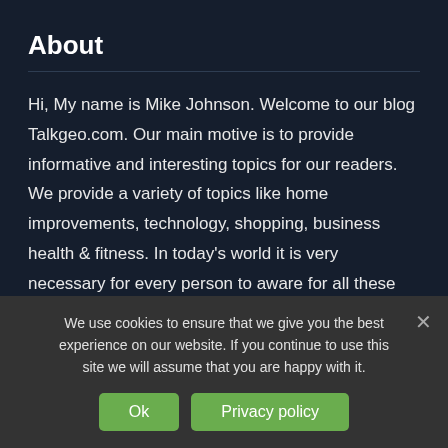About
Hi, My name is Mike Johnson. Welcome to our blog Talkgeo.com. Our main motive is to provide informative and interesting topics for our readers. We provide a variety of topics like home improvements, technology, shopping, business health & fitness. In today's world it is very necessary for every person to aware for all these things. You will get all this information in one place. I hope you will enjoy this blog and get in touch with us for more
We use cookies to ensure that we give you the best experience on our website. If you continue to use this site we will assume that you are happy with it.